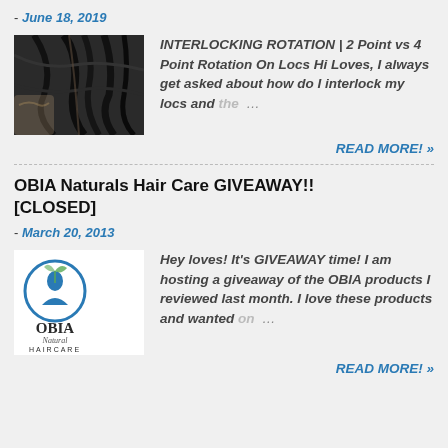- June 18, 2019
[Figure (photo): Thumbnail photo of a person's locs/hair from behind]
INTERLOCKING ROTATION | 2 Point vs 4 Point Rotation On Locs Hi Loves, I always get asked about how do I interlock my locs and the …
READ MORE! »
OBIA Naturals Hair Care GIVEAWAY!! [CLOSED]
- March 20, 2013
[Figure (logo): OBIA Natural Haircare logo — circular icon with silhouette and text OBIA Natural HAIRCARE]
Hey loves! It's GIVEAWAY time! I am hosting a giveaway of the OBIA products I reviewed last month. I love these products and wanted on… …
READ MORE! »